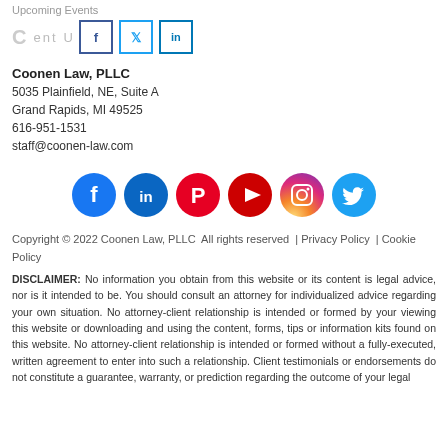Upcoming Events
Contact Us (with social share icons: Facebook, Twitter, LinkedIn)
Coonen Law, PLLC
5035 Plainfield, NE, Suite A
Grand Rapids, MI 49525
616-951-1531
staff@coonen-law.com
[Figure (infographic): Row of six social media icons: Facebook (dark blue circle), LinkedIn (blue circle), Pinterest (red circle), YouTube (red circle), Instagram (gradient circle), Twitter (light blue circle)]
Copyright © 2022 Coonen Law, PLLC  All rights reserved  | Privacy Policy  |  Cookie Policy
DISCLAIMER: No information you obtain from this website or its content is legal advice, nor is it intended to be. You should consult an attorney for individualized advice regarding your own situation. No attorney-client relationship is intended or formed by your viewing this website or downloading and using the content, forms, tips or information kits found on this website. No attorney-client relationship is intended or formed without a fully-executed, written agreement to enter into such a relationship. Client testimonials or endorsements do not constitute a guarantee, warranty, or prediction regarding the outcome of your legal